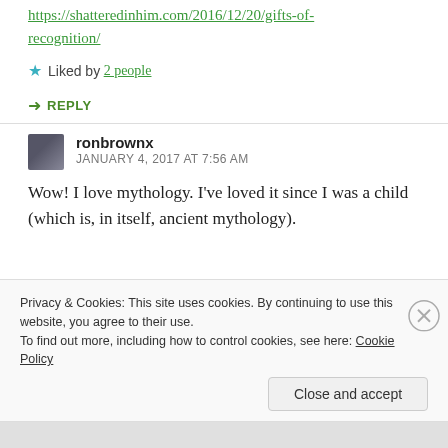https://shatteredinhim.com/2016/12/20/gifts-of-recognition/
★ Liked by 2 people
↪ REPLY
ronbrownx
JANUARY 4, 2017 AT 7:56 AM
Wow! I love mythology. I've loved it since I was a child (which is, in itself, ancient mythology).
Privacy & Cookies: This site uses cookies. By continuing to use this website, you agree to their use.
To find out more, including how to control cookies, see here: Cookie Policy
Close and accept